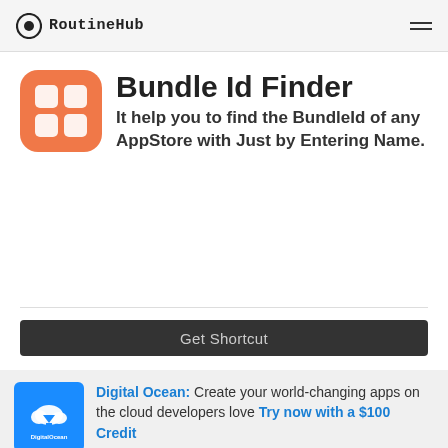RoutineHub
Bundle Id Finder
It help you to find the BundleId of any AppStore with Just by Entering Name.
Get Shortcut
Digital Ocean: Create your world-changing apps on the cloud developers love Try now with a $100 Credit
Ad by EthicalAds